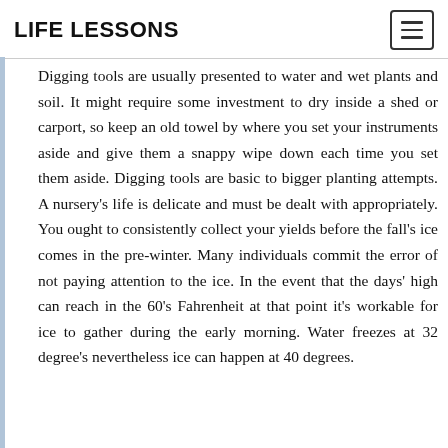LIFE LESSONS
Digging tools are usually presented to water and wet plants and soil. It might require some investment to dry inside a shed or carport, so keep an old towel by where you set your instruments aside and give them a snappy wipe down each time you set them aside. Digging tools are basic to bigger planting attempts. A nursery's life is delicate and must be dealt with appropriately. You ought to consistently collect your yields before the fall's ice comes in the pre-winter. Many individuals commit the error of not paying attention to the ice. In the event that the days' high can reach in the 60's Fahrenheit at that point it's workable for ice to gather during the early morning. Water freezes at 32 degree's nevertheless ice can happen at 40 degrees.